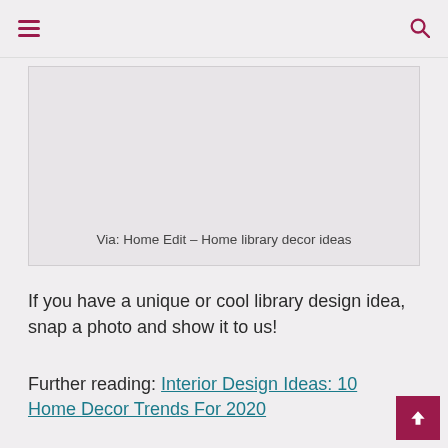≡  [menu icon]  [search icon]
[Figure (photo): Image placeholder box with caption: Via: Home Edit – Home library decor ideas]
Via: Home Edit – Home library decor ideas
If you have a unique or cool library design idea, snap a photo and show it to us!
Further reading: Interior Design Ideas: 10 Home Decor Trends For 2020